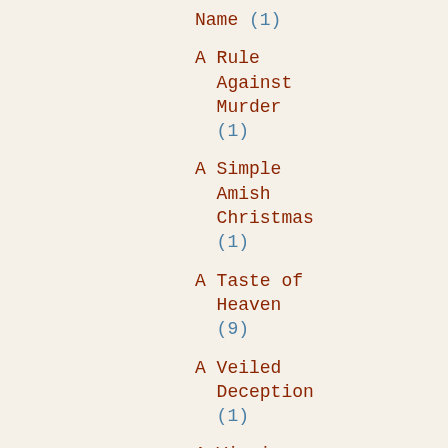Name (1)
A Rule Against Murder (1)
A Simple Amish Christmas (1)
A Taste of Heaven (9)
A Veiled Deception (1)
A Virgin River Christmas